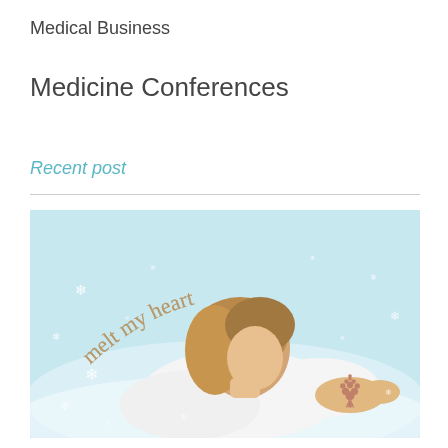Medical Business
Medicine Conferences
Recent post
[Figure (photo): A woman in a white outfit lying back with her face tilted upward, surrounded by snowflakes, with the text 'melt my heart' arched above her in gold lettering. A small decorative tree logo appears in the bottom right corner.]